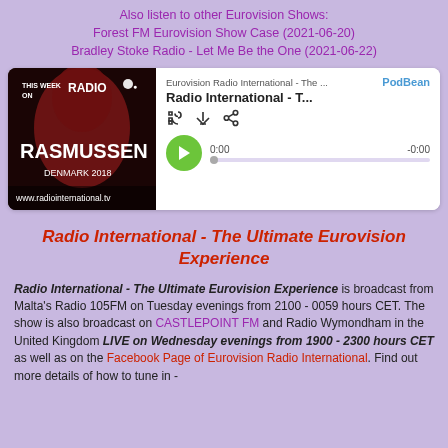Also listen to other Eurovision Shows: Forest FM Eurovision Show Case (2021-06-20) Bradley Stoke Radio - Let Me Be the One (2021-06-22)
[Figure (screenshot): Podcast player card showing Radio International - The Ultimate Eurovision Experience episode on PodBean, with a thumbnail image of Rasmussen Denmark 2018, play button, progress bar, and time indicators 0:00 and -0:00]
Radio International - The Ultimate Eurovision Experience
Radio International - The Ultimate Eurovision Experience is broadcast from Malta's Radio 105FM on Tuesday evenings from 2100 - 0059 hours CET. The show is also broadcast on CASTLEPOINT FM and Radio Wymondham in the United Kingdom LIVE on Wednesday evenings from 1900 - 2300 hours CET as well as on the Facebook Page of Eurovision Radio International. Find out more details of how to tune in -